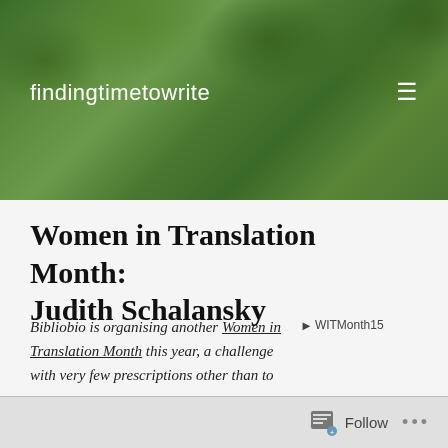findingtimetowrite
Women in Translation Month: Judith Schalansky
Bibliobio is organising another Women in Translation Month this year, a challenge with very few prescriptions other than to read as many women authors as possible. I'm reading plenty and I hope to review a
[Figure (other): WITMonth15 badge/logo image placeholder with broken image icon and alt text 'WITMonth15']
Follow